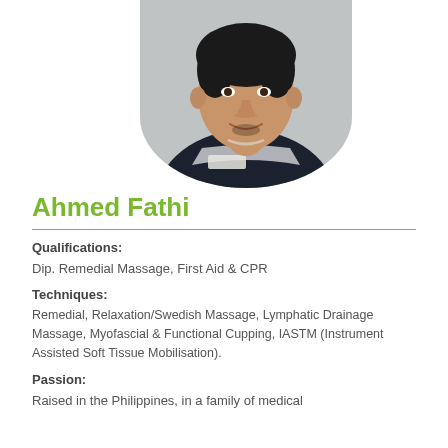[Figure (photo): Portrait photo of Ahmed Fathi, a young man wearing a dark navy polo shirt with a name badge, smiling, photographed against a light grey background. The photo is cropped in a rounded bottom oval shape.]
Ahmed Fathi
Qualifications:
Dip. Remedial Massage, First Aid & CPR
Techniques:
Remedial, Relaxation/Swedish Massage, Lymphatic Drainage Massage, Myofascial & Functional Cupping, IASTM (Instrument Assisted Soft Tissue Mobilisation).
Passion:
Raised in the Philippines, in a family of medical